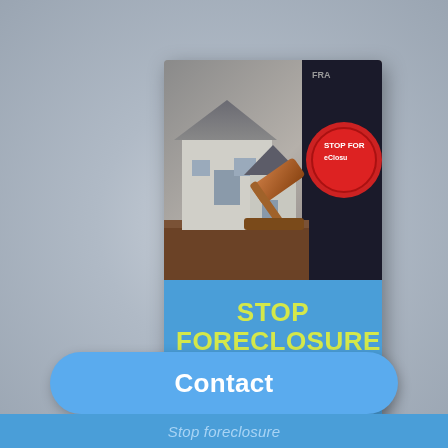[Figure (photo): Book cover with photo of a miniature house model, a wooden judge gavel, and a person in a suit holding a red 'Stop Foreclosure' button/sign. The top half is a photograph and the bottom half is a blue panel with yellow bold text reading 'STOP FORECLOSURE BECOME MORTGAGE FREE'.]
Contact
Stop foreclosure